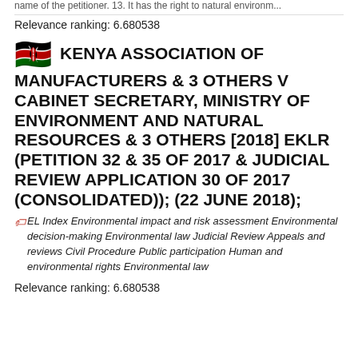name of the petitioner. 13. It has the right to natural environ...
Relevance ranking: 6.680538
KENYA ASSOCIATION OF MANUFACTURERS & 3 OTHERS V CABINET SECRETARY, MINISTRY OF ENVIRONMENT AND NATURAL RESOURCES & 3 OTHERS [2018] EKLR (PETITION 32 & 35 OF 2017 & JUDICIAL REVIEW APPLICATION 30 OF 2017 (CONSOLIDATED)); (22 JUNE 2018);
EL Index Environmental impact and risk assessment Environmental decision-making Environmental law Judicial Review Appeals and reviews Civil Procedure Public participation Human and environmental rights Environmental law
Relevance ranking: 6.680538